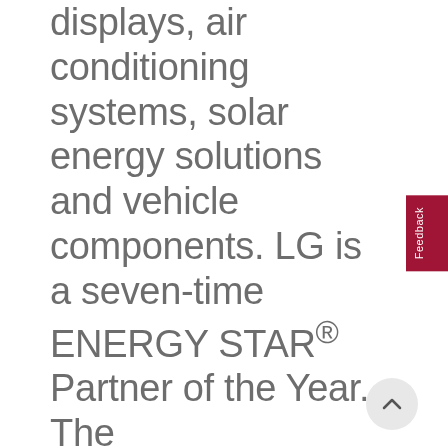displays, air conditioning systems, solar energy solutions and vehicle components. LG is a seven-time ENERGY STAR® Partner of the Year. The “Life’s Good” marketing theme encompasses how LG is dedicated to people’s happiness by exceeding expectations today and tomorrow. www.LG.com.